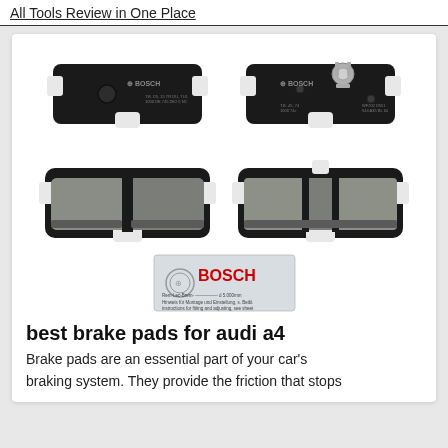All Tools Review in One Place
[Figure (photo): Four Bosch brake pads for Audi A4 — two shown from the back (black metal backing) and two from the front (grey friction material), plus a Bosch product label in the center bottom.]
best brake pads for audi a4
Brake pads are an essential part of your car's braking system. They provide the friction that stops